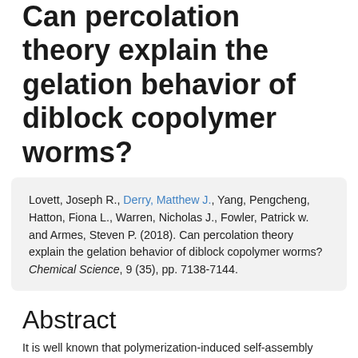Can percolation theory explain the gelation behavior of diblock copolymer worms?
Lovett, Joseph R., Derry, Matthew J., Yang, Pengcheng, Hatton, Fiona L., Warren, Nicholas J., Fowler, Patrick w. and Armes, Steven P. (2018). Can percolation theory explain the gelation behavior of diblock copolymer worms? Chemical Science, 9 (35), pp. 7138-7144.
Abstract
It is well known that polymerization-induced self-assembly (PISA) offers an efficient synthetic route for the production of